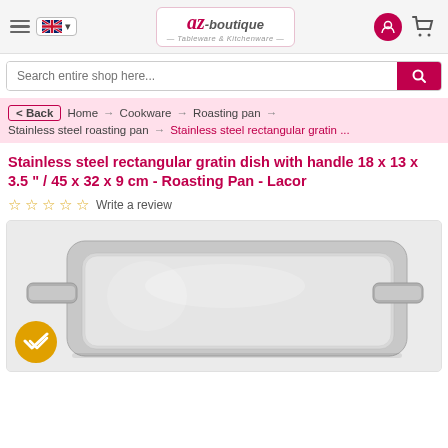AZ-boutique - Tableware & Kitchenware
Search entire shop here...
< Back  Home → Cookware → Roasting pan → Stainless steel roasting pan → Stainless steel rectangular gratin ...
Stainless steel rectangular gratin dish with handle 18 x 13 x 3.5 " / 45 x 32 x 9 cm - Roasting Pan - Lacor
☆☆☆☆☆ Write a review
[Figure (photo): Stainless steel rectangular gratin dish/roasting pan with handles, viewed from above at an angle, showing interior of the shiny metal pan.]